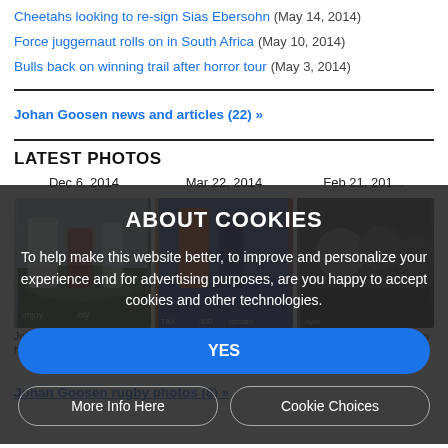Cheetahs looking to re-sign Sias Ebersohn (May 14, 2014)
Force juggernaut rolls on in South Africa (May 10, 2014)
Bulls back on winning trail after horror tour (May 3, 2014)
Johan Goosen news and articles (22) »
LATEST PHOTOS
Dec 6, 2014
Mar 22, 2014
Feb 21, 20…
[Figure (photo): Rugby player in white kit kicking ball on pitch, Dec 6, 2014]
[Figure (photo): Rugby players in orange and dark kit during match, Mar 22, 2014]
[Figure (photo): Rugby players in dark kit, Feb 21, 2014]
Johan… 11 points in the first ha… © Getty Images
charge the clearance Getty Images
The Cheetahs' Johan Goosen follows the ball …images
Johan Goosen rugby photos (8) »
ABOUT COOKIES
To help make this website better, to improve and personalize your experience and for advertising purposes, are you happy to accept cookies and other technologies.
YES
More Info Here
Cookie Choices